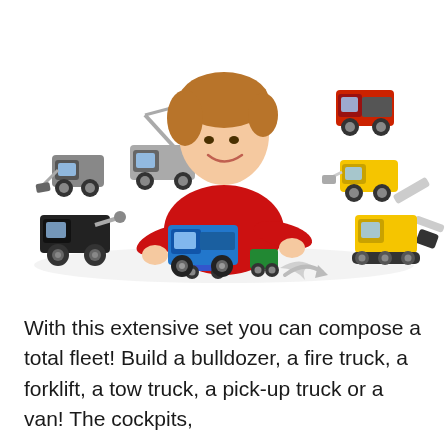[Figure (photo): A young boy in a red long-sleeve shirt smiling and playing with a set of small toy vehicles on a white surface. Around him are multiple toy trucks and construction vehicles including a bulldozer, fire truck, forklift, tow truck, pick-up truck, and van in various colors (yellow, black, blue, red). Arrows show vehicle transformations.]
With this extensive set you can compose a total fleet! Build a bulldozer, a fire truck, a forklift, a tow truck, a pick-up truck or a van! The cockpits,